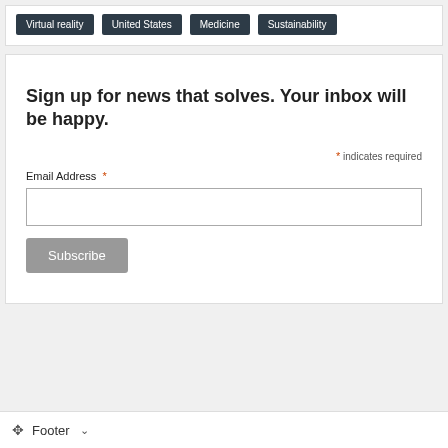Virtual reality
United States
Medicine
Sustainability
Sign up for news that solves. Your inbox will be happy.
* indicates required
Email Address *
Subscribe
Footer